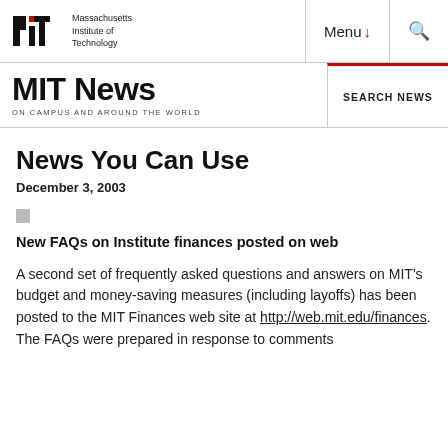Massachusetts Institute of Technology | Menu | Search
MIT News ON CAMPUS AND AROUND THE WORLD | SEARCH NEWS
News You Can Use
December 3, 2003
New FAQs on Institute finances posted on web
A second set of frequently asked questions and answers on MIT's budget and money-saving measures (including layoffs) has been posted to the MIT Finances web site at http://web.mit.edu/finances. The FAQs were prepared in response to comments